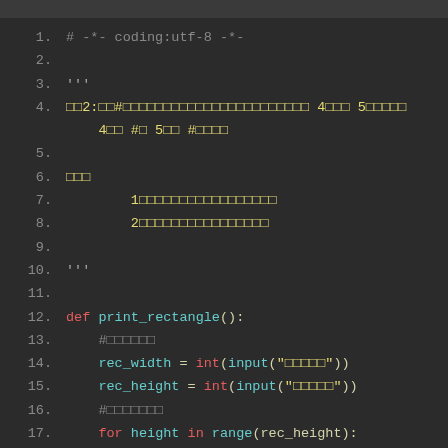[Figure (screenshot): Python source code editor screenshot showing lines 1-19 of a script with syntax highlighting on a dark background. Code includes a coding declaration, docstring, function definition print_rectangle() with input, int(), for loop constructs.]